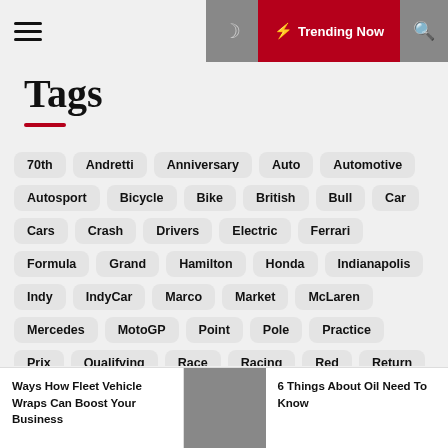≡ ☽ ⚡ Trending Now 🔍
Tags
70th
Andretti
Anniversary
Auto
Automotive
Autosport
Bicycle
Bike
British
Bull
Car
Cars
Crash
Drivers
Electric
Ferrari
Formula
Grand
Hamilton
Honda
Indianapolis
Indy
IndyCar
Marco
Market
McLaren
Mercedes
MotoGP
Point
Pole
Practice
Prix
Qualifying
Race
Racing
Red
Return
Season
Set
Spanish
Team
Transportation
Vehicle
Vettel
Wi…
Ways How Fleet Vehicle Wraps Can Boost Your Business | 6 Things About Oil Need To Know